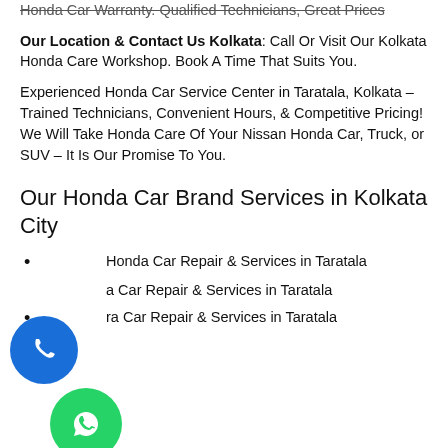Honda Car Warranty. Qualified Technicians, Great Prices
Our Location & Contact Us Kolkata: Call Or Visit Our Kolkata Honda Care Workshop. Book A Time That Suits You.
Experienced Honda Car Service Center in Taratala, Kolkata – Trained Technicians, Convenient Hours, & Competitive Pricing! We Will Take Honda Care Of Your Nissan Honda Car, Truck, or SUV – It Is Our Promise To You.
Our Honda Car Brand Services in Kolkata City
Honda Car Repair & Services in Taratala
a Car Repair & Services in Taratala
ra Car Repair & Services in Taratala